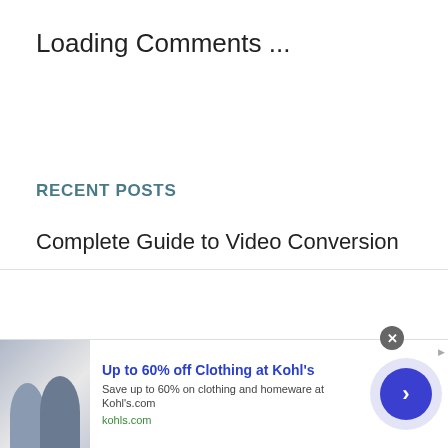Loading Comments ...
RECENT POSTS
Complete Guide to Video Conversion
[Figure (other): Advertisement banner: Up to 60% off Clothing at Kohl's. Save up to 60% on clothing and homeware at Kohl's.com. kohls.com. Shows image of two people and a circular arrow button.]